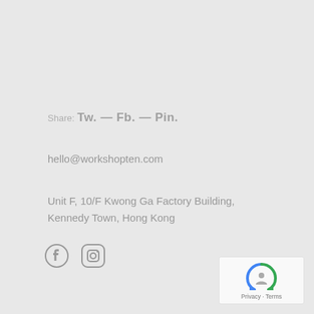Share: Tw. — Fb. — Pin.
hello@workshopten.com
Unit F, 10/F Kwong Ga Factory Building, Kennedy Town, Hong Kong
[Figure (other): Facebook and Instagram social media icons]
[Figure (other): Google reCAPTCHA widget with Privacy and Terms links]